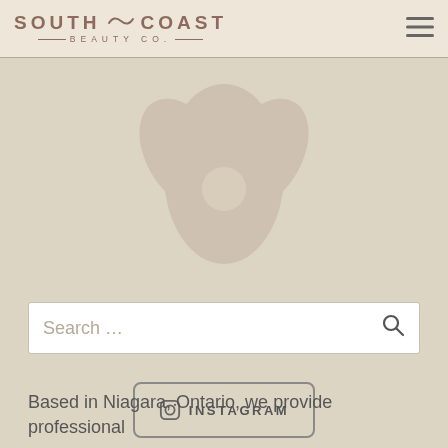[Figure (logo): South Coast Beauty Co. logo with wave icon and decorative lines]
[Figure (illustration): Faint decorative silhouette or floral watermark on beige background]
Search ...
INSTAGRAM
Based in Niagara, Ontario, we provide professional